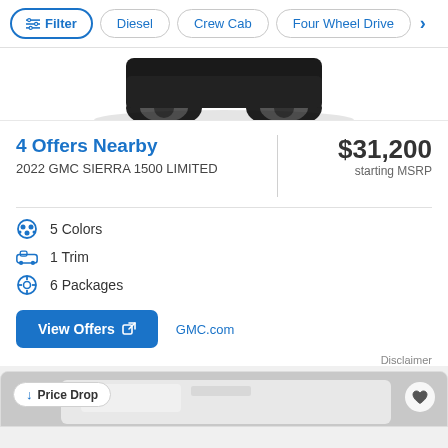Filter | Diesel | Crew Cab | Four Wheel Drive
[Figure (photo): Partial bottom view of a dark-colored truck (GMC Sierra), showing wheels and lower body against white background]
4 Offers Nearby
2022 GMC SIERRA 1500 LIMITED
$31,200 starting MSRP
5 Colors
1 Trim
6 Packages
View Offers
GMC.com
Disclaimer
↓ Price Drop